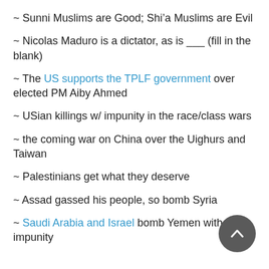~ Sunni Muslims are Good; Shi’a Muslims are Evil
~ Nicolas Maduro is a dictator, as is ___ (fill in the blank)
~ The US supports the TPLF government over elected PM Aiby Ahmed
~ USian killings w/ impunity in the race/class wars
~ the coming war on China over the Uighurs and Taiwan
~ Palestinians get what they deserve
~ Assad gassed his people, so bomb Syria
~ Saudi Arabia and Israel bomb Yemen with impunity